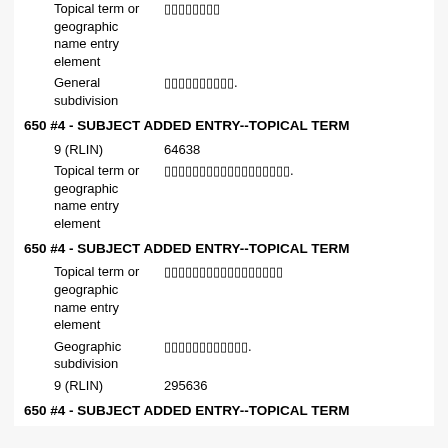Topical term or geographic name entry element
General subdivision          .
650 #4 - SUBJECT ADDED ENTRY--TOPICAL TERM
9 (RLIN)    64638
Topical term or geographic name entry element                .
650 #4 - SUBJECT ADDED ENTRY--TOPICAL TERM
Topical term or geographic name entry element
Geographic subdivision            .
9 (RLIN)    295636
650 #4 - SUBJECT ADDED ENTRY--TOPICAL TERM